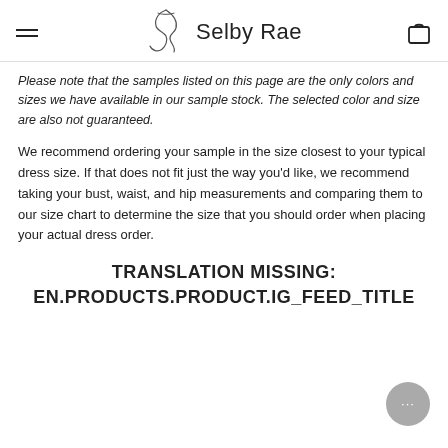Selby Rae
Please note that the samples listed on this page are the only colors and sizes we have available in our sample stock. The selected color and size are also not guaranteed.
We recommend ordering your sample in the size closest to your typical dress size. If that does not fit just the way you'd like, we recommend taking your bust, waist, and hip measurements and comparing them to our size chart to determine the size that you should order when placing your actual dress order.
TRANSLATION MISSING: EN.PRODUCTS.PRODUCT.IG_FEED_TITLE